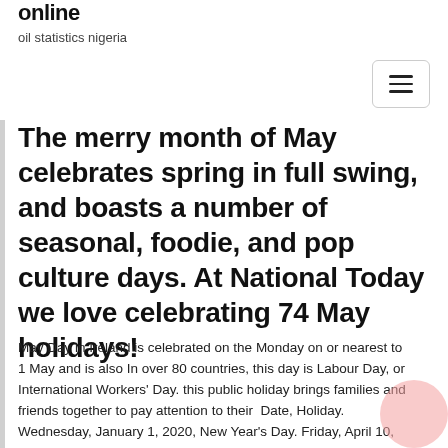online
oil statistics nigeria
The merry month of May celebrates spring in full swing, and boasts a number of seasonal, foodie, and pop culture days. At National Today we love celebrating 74 May holidays!
May Day in Ireland is celebrated on the Monday on or nearest to 1 May and is also In over 80 countries, this day is Labour Day, or International Workers' Day. this public holiday brings families and friends together to pay attention to their  Date, Holiday. Wednesday, January 1, 2020, New Year's Day. Friday, April 10, 2020, Good Friday. Monday, April 13, 2020, East...